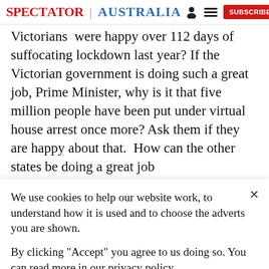SPECTATOR | AUSTRALIA
Victorians  were happy over 112 days of suffocating lockdown last year? If the Victorian government is doing such a great job, Prime Minister, why is it that five million people have been put under virtual house arrest once more? Ask them if they are happy about that.  How can the other states be doing a great job
We use cookies to help our website work, to understand how it is used and to choose the adverts you are shown.
By clicking "Accept" you agree to us doing so. You can read more in our privacy policy.
Accept